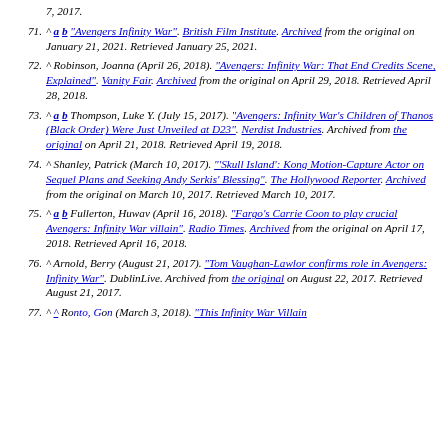71. ^ a b "Avengers Infinity War". British Film Institute. Archived from the original on January 21, 2021. Retrieved January 25, 2021.
72. ^ Robinson, Joanna (April 26, 2018). "Avengers: Infinity War: That End Credits Scene, Explained". Vanity Fair. Archived from the original on April 29, 2018. Retrieved April 28, 2018.
73. ^ a b Thompson, Luke Y. (July 15, 2017). "Avengers: Infinity War's Children of Thanos (Black Order) Were Just Unveiled at D23". Nerdist Industries. Archived from the original on April 21, 2018. Retrieved April 19, 2018.
74. ^ Shanley, Patrick (March 10, 2017). "'Skull Island': Kong Motion-Capture Actor on Sequel Plans and Seeking Andy Serkis' Blessing". The Hollywood Reporter. Archived from the original on March 10, 2017. Retrieved March 10, 2017.
75. ^ a b Fullerton, Huwav (April 16, 2018). "Fargo's Carrie Coon to play crucial Avengers: Infinity War villain". Radio Times. Archived from the original on April 17, 2018. Retrieved April 16, 2018.
76. ^ Arnold, Berry (August 21, 2017). "Tom Vaughan-Lawlor confirms role in Avengers: Infinity War". DublinLive. Archived from the original on August 22, 2017. Retrieved August 21, 2017.
77. ^ ...